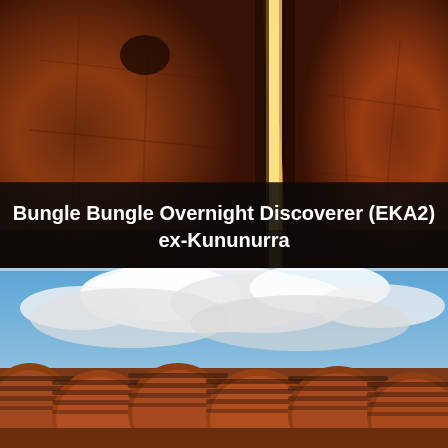[Figure (photo): Close-up photo of deep red-brown sandstone rock walls with a narrow vertical crack of bright light passing through, creating a dramatic slot canyon effect]
Bungle Bungle Overnight Discoverer (EKA2) ex-Kununurra
[Figure (photo): Landscape photo of the Bungle Bungle Range (Purnululu National Park) showing distinctive striped orange and black beehive-shaped sandstone domes under a partly cloudy blue sky]